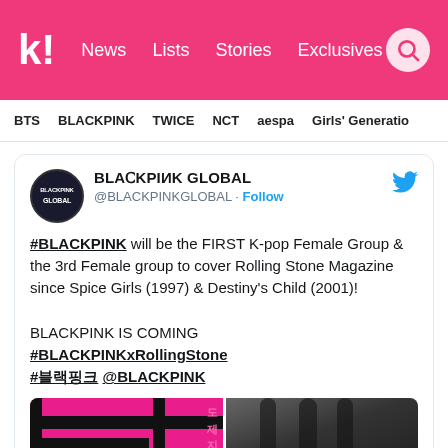K! News Lists Stories Exclusives
BTS BLACKPINK TWICE NCT aespa Girls' Generation
[Figure (screenshot): Tweet from @BLACKPINKGLOBAL: #BLACKPINK will be the FIRST K-pop Female Group & the 3rd Female group to cover Rolling Stone Magazine since Spice Girls (1997) & Destiny's Child (2001)! BLACKPINK IS COMING #BLACKPINKxRollingStone #블랙핑크 @BLACKPINK — with two images below the tweet text]